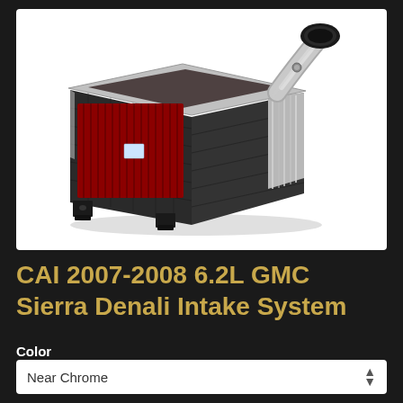[Figure (photo): Cold air intake system for 2007-2008 6.2L GMC Sierra Denali, showing a rectangular heat shield box with red air filter inside, silver intake tube extending upward to the right, and mounting brackets at the bottom. The unit has a reflective interior and carbon fiber-look exterior.]
CAI 2007-2008 6.2L GMC Sierra Denali Intake System
Color
Near Chrome